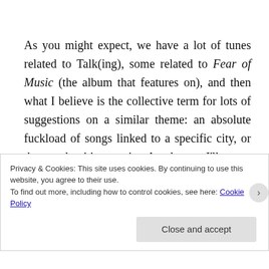As you might expect, we have a lot of tunes related to Talk(ing), some related to Fear of Music (the album that features on), and then what I believe is the collective term for lots of suggestions on a similar theme: an absolute fuckload of songs linked to a specific city, or the words cities or city. As always, I'll try to put them in an order that makes some kind of narrative sense (you've noticed I do that right?) but if you're planning on doing yourself
Privacy & Cookies: This site uses cookies. By continuing to use this website, you agree to their use.
To find out more, including how to control cookies, see here: Cookie Policy